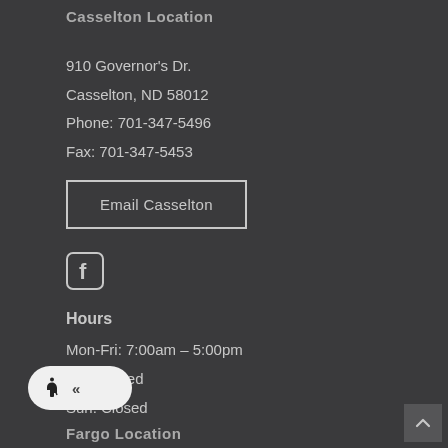Casselton Location
910 Governor's Dr.
Casselton, ND 58012
Phone: 701-347-5496
Fax: 701-347-5453
Email Casselton
[Figure (logo): Facebook icon - white F in rounded square outline]
Hours
Mon-Fri: 7:00am – 5:00pm
Sat: Closed
Sun: Closed
[Figure (other): Accessibility widget with wheelchair icon and arrow]
Fargo Location